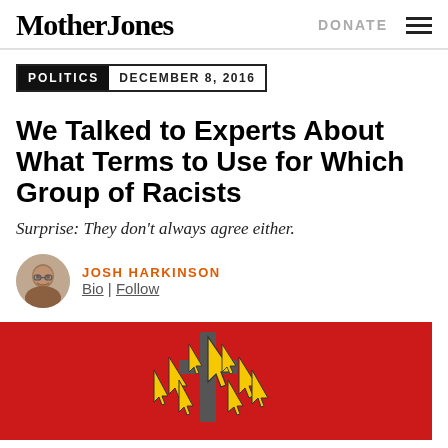Mother Jones | DONATE
POLITICS  DECEMBER 8, 2016
We Talked to Experts About What Terms to Use for Which Group of Racists
Surprise: They don't always agree either.
JOSH HARKINSON
Bio | Follow
[Figure (illustration): Red background with a graphic illustration of cursor arrow icons clustered around a cross/sword shape, rendered in yellow with dark outlines — illustrating internet hate groups or the alt-right.]